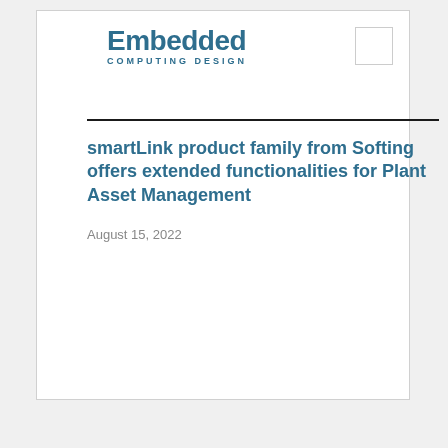Embedded Computing Design
smartLink product family from Softing offers extended functionalities for Plant Asset Management
August 15, 2022